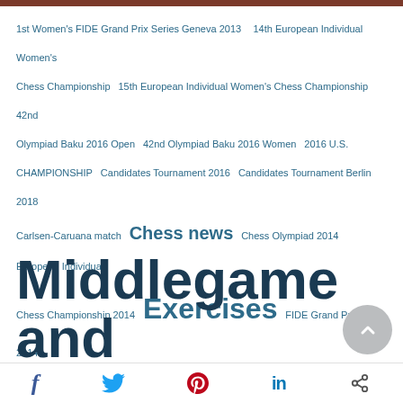1st Women's FIDE Grand Prix Series Geneva 2013  14th European Individual Women's Chess Championship  15th European Individual Women's Chess Championship  42nd Olympiad Baku 2016 Open  42nd Olympiad Baku 2016 Women  2016 U.S. CHAMPIONSHIP  Candidates Tournament 2016  Candidates Tournament Berlin 2018  Carlsen-Caruana match  Chess news  Chess Olympiad 2014  European Individual Chess Championship 2014  Exercises  FIDE Grand Prix Baku 2014  FIDE Grand Prix in Beijing 2013  FIDE Grand Prix Tashkent 2014  FIDE Women's Grand-Prix June/July 2014  FIDE Women's Grand Prix Chengdu 2016  FIDE World Cup in Tromso 2013  Grand Prix - Zug 2013  Lessons  Our Middlegame and Endgame Collection
Social share bar: Facebook, Twitter, Pinterest, LinkedIn, Share